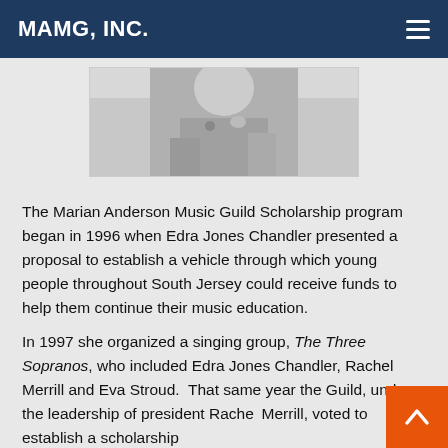MAMG, INC.
[Figure (photo): Black and white photograph, partially cropped, showing upper portion of a person, appears to be a performance or portrait photo.]
The Marian Anderson Music Guild Scholarship program began in 1996 when Edra Jones Chandler presented a proposal to establish a vehicle through which young people throughout South Jersey could receive funds to help them continue their music education.
In 1997 she organized a singing group, The Three Sopranos, who included Edra Jones Chandler, Rachel Merrill and Eva Stroud.  That same year the Guild, under the leadership of president Rachel Merrill, voted to establish a scholarship